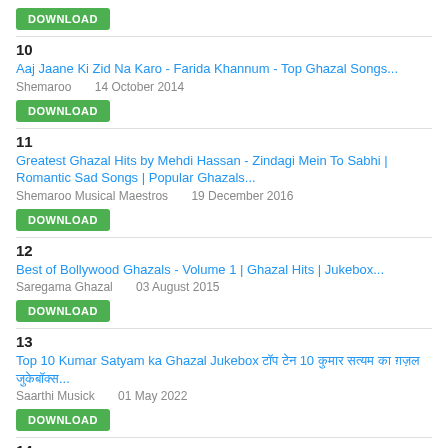DOWNLOAD
10
Aaj Jaane Ki Zid Na Karo - Farida Khannum - Top Ghazal Songs...
Shemaroo   14 October 2014
DOWNLOAD
11
Greatest Ghazal Hits by Mehdi Hassan - Zindagi Mein To Sabhi | Romantic Sad Songs | Popular Ghazals...
Shemaroo Musical Maestros   19 December 2016
DOWNLOAD
12
Best of Bollywood Ghazals - Volume 1 | Ghazal Hits | Jukebox...
Saregama Ghazal   03 August 2015
DOWNLOAD
13
Top 10 Kumar Satyam ka Ghazal Jukebox टॉप टेन 10 कुमार सत्यम का ग़ज़ल जुकेबॉक्स...
Saarthi Musick   01 May 2022
DOWNLOAD
14
Best of Gulam Ali | Ghazal Hits | Jukebox |Musafir Chalto Chalto